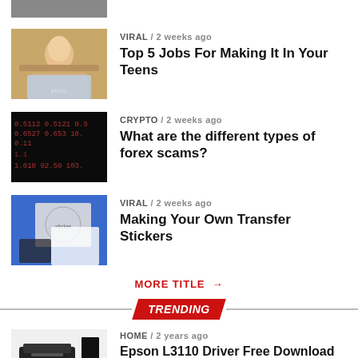[Figure (photo): Partial thumbnail of a person at top of page (cropped)]
VIRAL / 2 weeks ago
Top 5 Jobs For Making It In Your Teens
[Figure (photo): Young woman in yellow sweater working on laptop]
CRYPTO / 2 weeks ago
What are the different types of forex scams?
[Figure (photo): Stock market ticker screen with red numbers]
VIRAL / 2 weeks ago
Making Your Own Transfer Stickers
[Figure (photo): Hands peeling a transfer sticker off paper]
MORE TITLE →
TRENDING
HOME / 2 years ago
Epson L3110 Driver Free Download Latest Updated Version
[Figure (photo): Epson L3110 printer on white background]